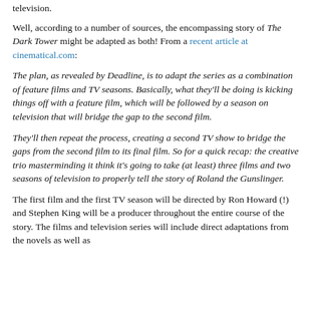television.
Well, according to a number of sources, the encompassing story of The Dark Tower might be adapted as both! From a recent article at cinematical.com:
The plan, as revealed by Deadline, is to adapt the series as a combination of feature films and TV seasons. Basically, what they'll be doing is kicking things off with a feature film, which will be followed by a season on television that will bridge the gap to the second film.
They'll then repeat the process, creating a second TV show to bridge the gaps from the second film to its final film. So for a quick recap: the creative trio masterminding it think it's going to take (at least) three films and two seasons of television to properly tell the story of Roland the Gunslinger.
The first film and the first TV season will be directed by Ron Howard (!) and Stephen King will be a producer throughout the entire course of the story. The films and television series will include direct adaptations from the novels as well as